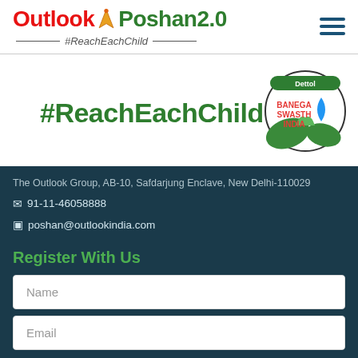[Figure (logo): Outlook Poshan 2.0 logo with #ReachEachChild tagline]
[Figure (logo): Dettol Banega Swasth India circular badge logo]
#ReachEachChild
The Outlook Group, AB-10, Safdarjung Enclave, New Delhi-110029
91-11-46058888
poshan@outlookindia.com
Register With Us
Name
Email